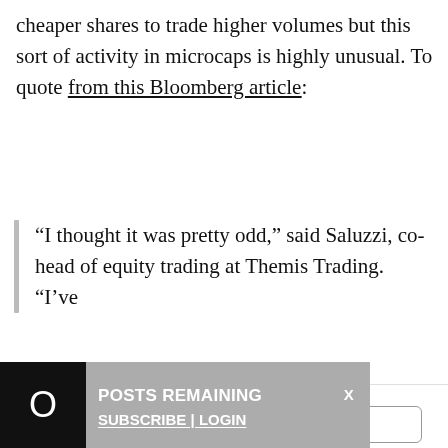cheaper shares to trade higher volumes but this sort of activity in microcaps is highly unusual. To quote from this Bloomberg article:
“I thought it was pretty odd,” said Saluzzi, co-head of equity trading at Themis Trading. “I’ve [text continues below fold]
We use cookies to optimize our website and our service.
Accept cookies
Deny
View preferences
0 POSTS REMAINING X SUBSCRIBE | LOGIN